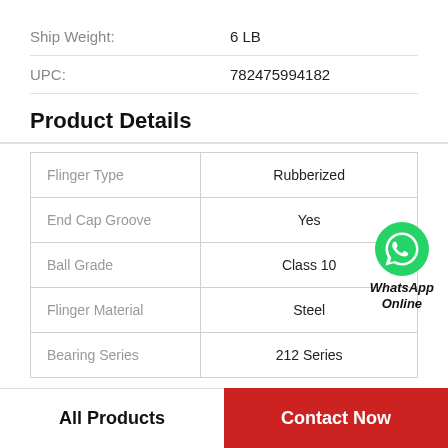| Ship Weight: | 6 LB |
| UPC: | 782475994182 |
Product Details
|  |  |
| --- | --- |
| Flinger Type | Rubberized |
| End Cap Groove | Yes |
| Ball Grade | Class 10 |
| Flinger Material | Steel |
| Bearing Series | 212 Series |
WhatsApp Online
All Products   Contact Now